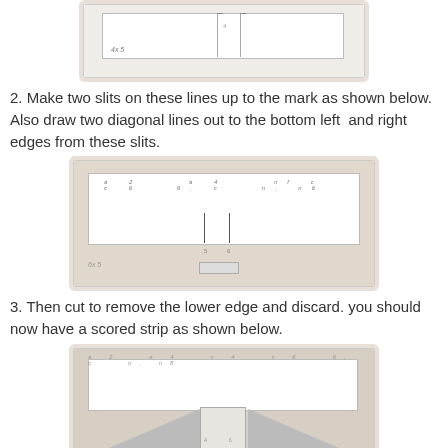[Figure (photo): Photo of a long white paper strip with vertical score lines drawn on it, partially visible at top of page]
2. Make two slits on these lines up to the mark as shown below. Also draw two diagonal lines out to the bottom left and right edges from these slits.
[Figure (photo): Photo showing paper strip with two vertical slits cut partway down, with a small tab visible at the bottom between the slits, and handwritten measurements along the top edge]
3. Then cut to remove the lower edge and discard. you should now have a scored strip as shown below.
[Figure (photo): Photo showing the scored strip after cutting, with two diagonal triangle shapes cut away from the lower portion forming a tent-like shape, with a rectangular tab remaining in the center]
4. You are now ready to fold the pleats. Starting on the left hand side fold as follows to the 5" score line.
Valley,mountain,valley, mountain,valley, mountain. Stop at this